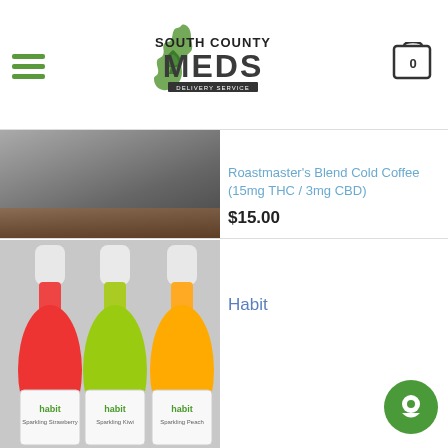[Figure (logo): South County Meds dispensary logo with cannabis leaf and cart icon navigation header]
[Figure (photo): Roastmaster's Blend Cold Coffee product photo (cropped, partial view)]
Roastmaster's Blend Cold Coffee (15mg THC / 3mg CBD)
$15.00
[Figure (photo): Three Habit sparkling beverage bottles in Strawberry (red), Kiwi (green), and Peach (orange/yellow) flavors]
Habit